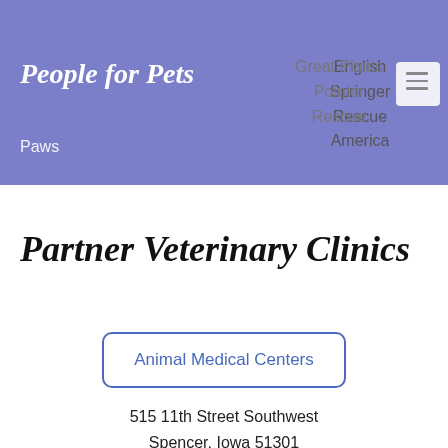People for Pets | Paws | English Springer Rescue America | Great Plains Pointer Rescue
Partner Veterinary Clinics
Animal Medical Centers
515 11th Street Southwest
Spencer, Iowa 51301
712-262-7900